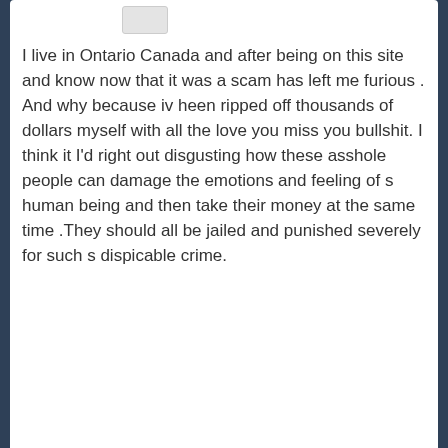I live in Ontario Canada and after being on this site and know now that it was a scam has left me furious . And why because iv heen ripped off thousands of dollars myself with all the love you miss you bullshit. I think it I'd right out disgusting how these asshole people can damage the emotions and feeling of s human being and then take their money at the same time .They should all be jailed and punished severely for such s dispicable crime.
Reply
Harry Scott says:
This is a site using computer-generated messages and responses. Many are word for word identical. I am 74 and have received over 400 responses from women, mostly in their 40s, I think that is a little fanciful for someone my age. I changed my preferences to 50 to 60, but still mostly 40s and some 30 yr olds. When the site noticed I spoke